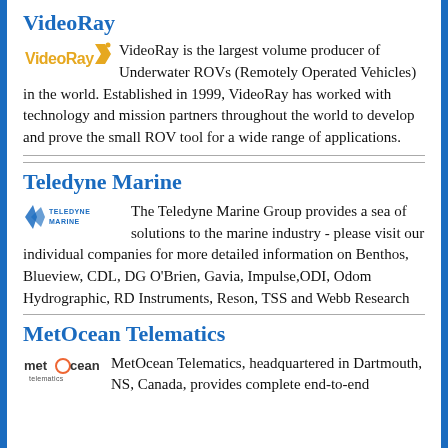VideoRay
[Figure (logo): VideoRay logo with orange/gold text and flag icon]
VideoRay is the largest volume producer of Underwater ROVs (Remotely Operated Vehicles) in the world. Established in 1999, VideoRay has worked with technology and mission partners throughout the world to develop and prove the small ROV tool for a wide range of applications.
Teledyne Marine
[Figure (logo): Teledyne Marine logo with blue leaf/arrow icon and text]
The Teledyne Marine Group provides a sea of solutions to the marine industry - please visit our individual companies for more detailed information on Benthos, Blueview, CDL, DG O'Brien, Gavia, Impulse,ODI, Odom Hydrographic, RD Instruments, Reson, TSS and Webb Research
MetOcean Telematics
[Figure (logo): MetOcean Telematics logo with stylized O and telematics text]
MetOcean Telematics, headquartered in Dartmouth, NS, Canada, provides complete end-to-end